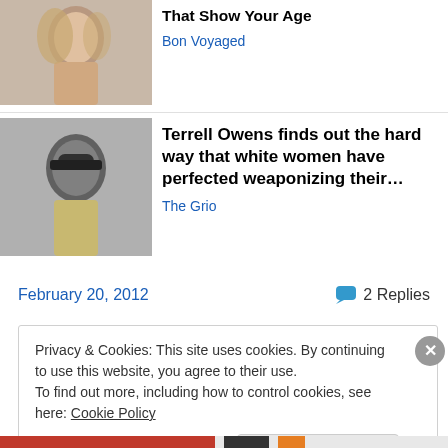[Figure (photo): Thumbnail of a woman with blonde hair]
That Show Your Age
Bon Voyaged
[Figure (photo): Thumbnail of a man wearing sunglasses]
Terrell Owens finds out the hard way that white women have perfected weaponizing their…
The Grio
February 20, 2012
2 Replies
Privacy & Cookies: This site uses cookies. By continuing to use this website, you agree to their use.
To find out more, including how to control cookies, see here: Cookie Policy